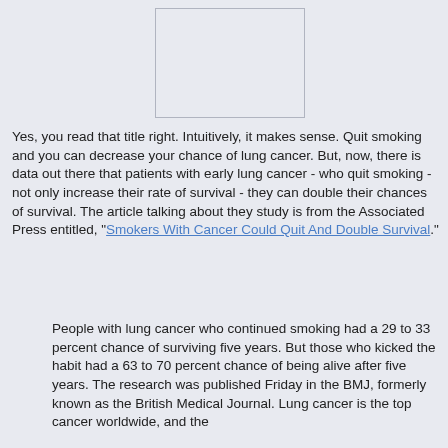[Figure (other): Placeholder image box, white/light background with border, centered upper portion of page]
Yes, you read that title right. Intuitively, it makes sense. Quit smoking and you can decrease your chance of lung cancer. But, now, there is data out there that patients with early lung cancer - who quit smoking - not only increase their rate of survival - they can double their chances of survival. The article talking about they study is from the Associated Press entitled, "Smokers With Cancer Could Quit And Double Survival."
People with lung cancer who continued smoking had a 29 to 33 percent chance of surviving five years. But those who kicked the habit had a 63 to 70 percent chance of being alive after five years. The research was published Friday in the BMJ, formerly known as the British Medical Journal. Lung cancer is the top cancer worldwide, and the